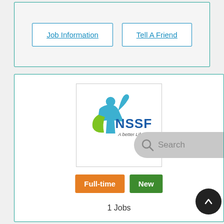[Figure (screenshot): Top card with two button links: 'Job Information' and 'Tell A Friend']
[Figure (logo): NSSF logo - National Social Security Fund logo with text 'A better Life']
Full-time
New
1 Jobs
Backend applications developer job at National Social Security Fund (NSSF)